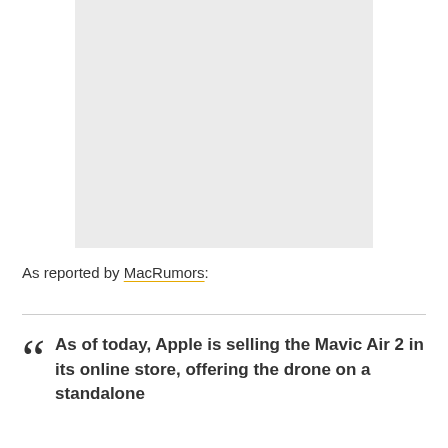[Figure (photo): Gray placeholder image area representing a photo]
As reported by MacRumors:
As of today, Apple is selling the Mavic Air 2 in its online store, offering the drone on a standalone